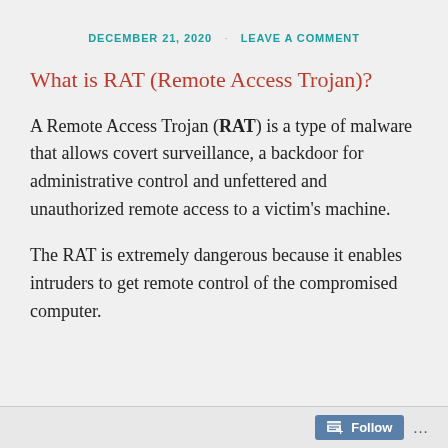DECEMBER 21, 2020 · LEAVE A COMMENT
What is RAT (Remote Access Trojan)?
A Remote Access Trojan (RAT) is a type of malware that allows covert surveillance, a backdoor for administrative control and unfettered and unauthorized remote access to a victim's machine.
The RAT is extremely dangerous because it enables intruders to get remote control of the compromised computer.
Follow ...